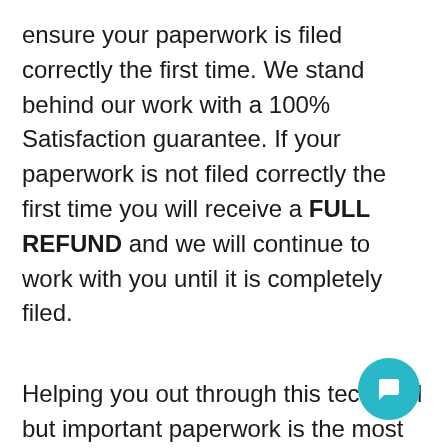ensure your paperwork is filed correctly the first time. We stand behind our work with a 100% Satisfaction guarantee. If your paperwork is not filed correctly the first time you will receive a FULL REFUND and we will continue to work with you until it is completely filed.
Helping you out through this technical but important paperwork is the most important aspect of our job. We don't want you having to worry about whether your paperwork is filed correctly, and we promise you wi...